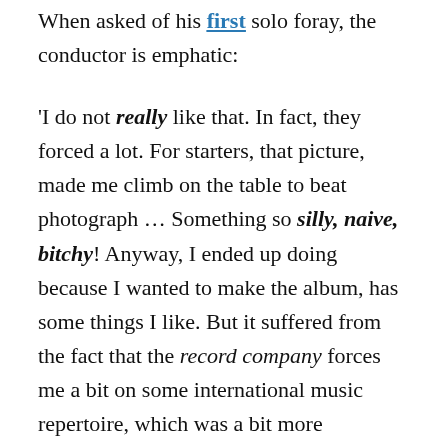When asked of his first solo foray, the conductor is emphatic:
'I do not really like that. In fact, they forced a lot. For starters, that picture, made me climb on the table to beat photograph ... Something so silly, naive, bitchy! Anyway, I ended up doing because I wanted to make the album, has some things I like. But it suffered from the fact that the record company forces me a bit on some international music repertoire, which was a bit more commercialized. Within the record company, they did not understand things well...'
Launched in the first half of 1968, riding on the musical wave Tropicália, the album was a